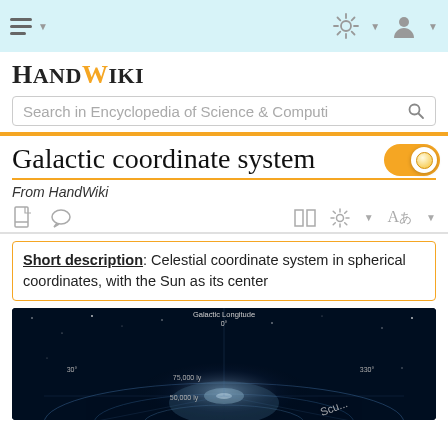HandWiki navigation bar with hamburger menu, settings, and user icons
HANDWIKI
Search in Encyclopedia of Science & Computi
Galactic coordinate system
From HandWiki
Short description: Celestial coordinate system in spherical coordinates, with the Sun as its center
[Figure (photo): Galactic coordinate system diagram showing galactic longitude 0 degrees at top, with 30 degrees and 330 degrees marked on sides, distance rings at 75,000 ly and 50,000 ly, and Sculptor constellation label visible. Dark space background with Milky Way galaxy visualization.]